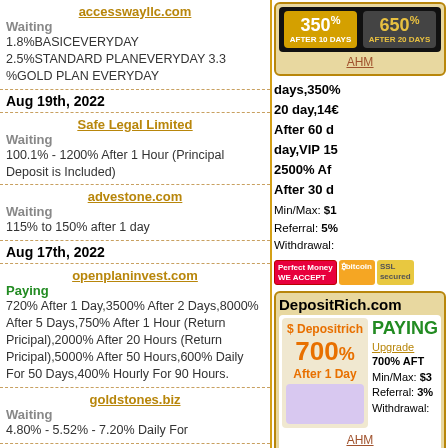accesswayllc.com
Waiting
1.8%BASICEVERYDAY
2.5%STANDARD PLANEVERYDAY 3.3 %GOLD PLAN EVERYDAY
Aug 19th, 2022
Safe Legal Limited
Waiting
100.1% - 1200% After 1 Hour (Principal Deposit is Included)
advestone.com
Waiting
115% to 150% after 1 day
Aug 17th, 2022
openplaninvest.com
Paying
720% After 1 Day,3500% After 2 Days,8000% After 5 Days,750% After 1 Hour (Return Pricipal),2000% After 20 Hours (Return Pricipal),5000% After 50 Hours,600% Daily For 50 Days,400% Hourly For 90 Hours.
goldstones.biz
Waiting
4.80% - 5.52% - 7.20% Daily For
[Figure (infographic): Ad banner showing 350% after 10 days and 650% after 20 days on dark background]
days,350%
20 day,14%
After 60 d
day,VIP 15
2500% Af
After 30 d
Min/Max: $1
Referral: 5%
Withdrawal:
AHM
DepositRich.com
PAYING
Upgrade
700% AFT
Min/Max: $3
Referral: 3%
Withdrawal:
700%
After 1 Day
AHM
DepositRich is a professionally m stable footing in your efforts to bu security features and reputation